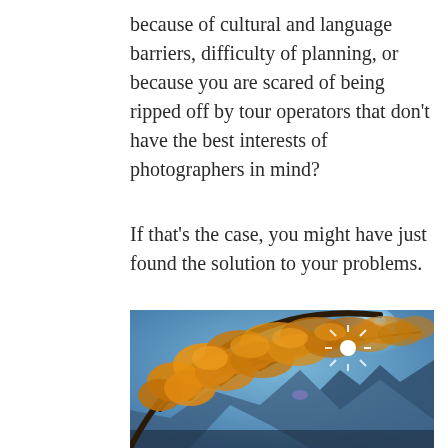because of cultural and language barriers, difficulty of planning, or because you are scared of being ripped off by tour operators that don't have the best interests of photographers in mind?
If that's the case, you might have just found the solution to your problems.
[Figure (photo): Autumn tree with golden/orange leaves, branches silhouetted against a blue sky with a bright sun star burst shining through the foliage, and a mountain visible in the lower portion of the image.]